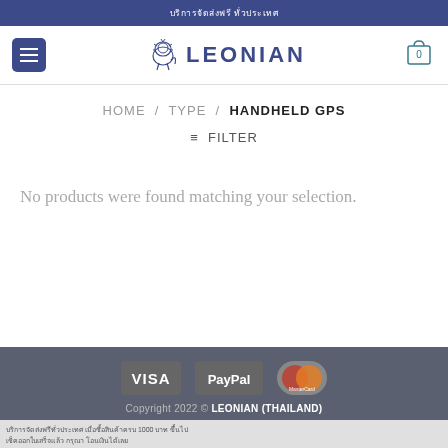[Thai text announcement bar]
[Figure (logo): Leonian logo with lion graphic and text LEONIAN in blue, with hamburger menu button and cart icon]
HOME / TYPE / HANDHELD GPS
≡ FILTER
No products were found matching your selection.
[Figure (infographic): Payment icons: VISA, PayPal, MasterCard on dark grey footer background]
Copyright 2022 © LEONIAN (THAILAND)
[Thai text footer lines]